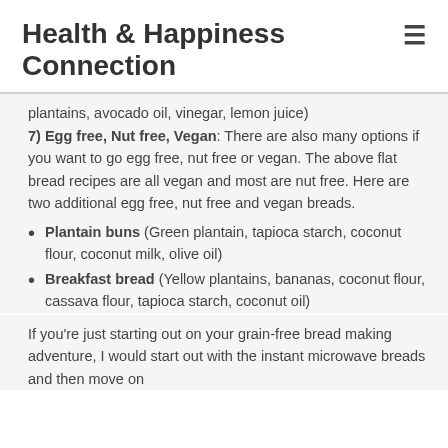Health & Happiness Connection
plantains, avocado oil, vinegar, lemon juice) 7) Egg free, Nut free, Vegan: There are also many options if you want to go egg free, nut free or vegan. The above flat bread recipes are all vegan and most are nut free. Here are two additional egg free, nut free and vegan breads.
Plantain buns (Green plantain, tapioca starch, coconut flour, coconut milk, olive oil)
Breakfast bread (Yellow plantains, bananas, coconut flour, cassava flour, tapioca starch, coconut oil)
If you're just starting out on your grain-free bread making adventure, I would start out with the instant microwave breads and then move on